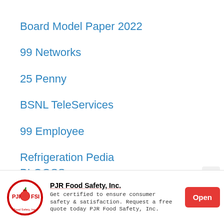Board Model Paper 2022
99 Networks
25 Penny
BSNL TeleServices
99 Employee
Refrigeration Pedia
BLOGSS
PJR Food Safety, Inc. Get certified to ensure consumer safety & satisfaction. Request a free quote today PJR Food Safety, Inc.